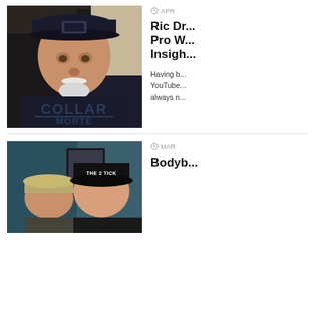[Figure (photo): Man wearing black cap and black t-shirt reading 'COLLAR' in a cafe setting]
APR
Ric Dr... Pro W... Insigh...
Having b... YouTube... always n...
[Figure (photo): Two people, one wearing a hat that reads 'THE 2 TICK']
MAR
Bodyb...